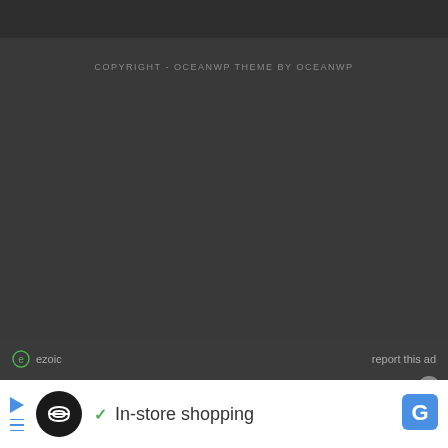COPYRIGHT - OCEANWP THEME BY OCEANWP
[Figure (screenshot): Ezoic ad label bar with ezoic logo icon and 'report this ad' text on dark background]
[Figure (screenshot): Advertisement banner on white background showing play icon, circular logo, checkmark, 'In-store shopping' text, and Google G logo with close button]